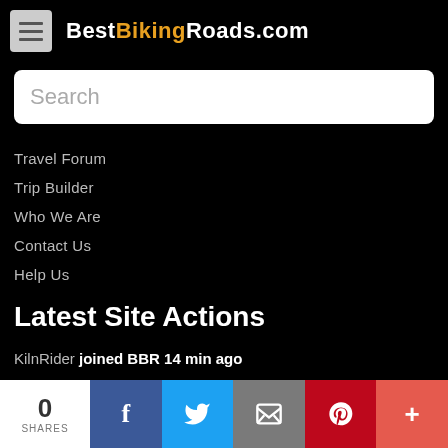BestBikingRoads.com
Search
Travel Forum
Trip Builder
Who We Are
Contact Us
Help Us
Latest Site Actions
KilnRider joined BBR 14 min ago
ewshaul created a custom trip Trip Builder Trip 4 hrs, 34 min ago
ewshaul joined BBR 5 hrs, 6 min ago
Mr_VHS joined BBR 6 hrs, 58 min ago
0 SHARES